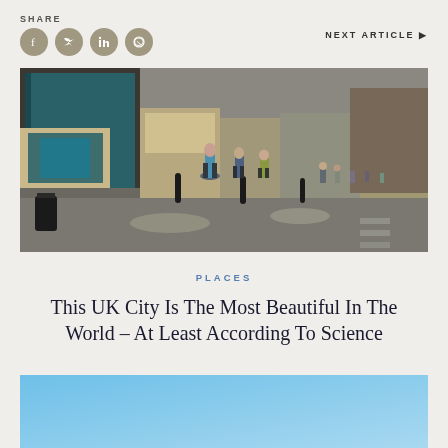SHARE
[Figure (infographic): Social media share icons: Facebook, Twitter, LinkedIn, WhatsApp — brown circular icons]
NEXT ARTICLE ▶
[Figure (photo): A busy UK pedestrian shopping street with people walking past shops on a sunny day]
PLACES
This UK City Is The Most Beautiful In The World – At Least According To Science
[Figure (photo): Light blue gradient sky image, partially visible at the bottom of the page]